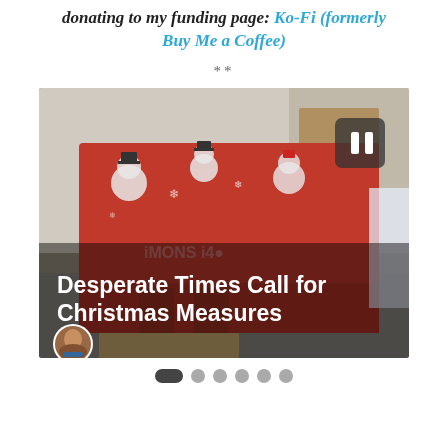donating to my funding page: Ko-Fi (formerly Buy Me a Coffee)
**
[Figure (photo): Photo of a red Christmas-wrapped gift box with snowman and Santa patterns. Overlaid white bold text reads 'Desperate Times Call for Christmas Measures'. A circular avatar photo appears bottom-left. A pause button (dark rounded rectangle with two white bars) is visible top-right.]
Slideshow navigation dots: one active (dark pill shape) followed by five grey circles